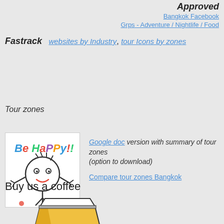Approved  Bangkok Facebook Grps - Adventure / Nightlife / Food
Fastrack  websites by Industry, tour Icons by zones
Tour zones
[Figure (illustration): Be Happy smiley stick figure illustration with colorful text]
Google doc version with summary of tour zones (option to download)
Compare tour zones Bangkok
Buy us a coffee
[Figure (illustration): Coffee cup take-away illustration with yellow and grey colors]